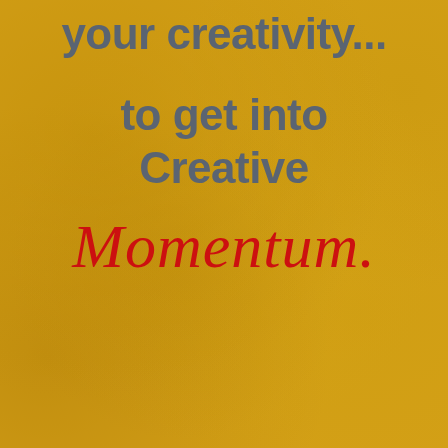[Figure (illustration): Golden/amber textured parchment background with mottled warm yellow tones]
your creativity...
to get into Creative
Momentum.